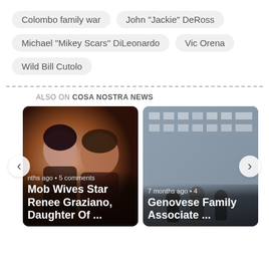Colombo family war
John "Jackie" DeRoss
Michael "Mikey Scars" DiLeonardo
Vic Orena
Wild Bill Cutolo
ALSO ON COSA NOSTRA NEWS
[Figure (photo): Card showing photo of two people (woman and man), captioned 'Mob Wives Star Renee Graziano, Daughter Of ...' with meta 'nths ago • 5 comments']
[Figure (photo): Card showing photo of people outside a building, captioned 'Genovese Family Associate ...' with meta '7 months ago • 4']